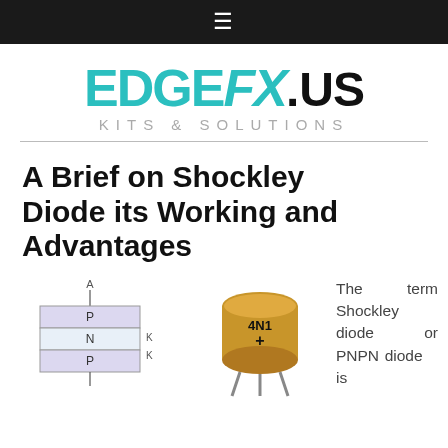≡
[Figure (logo): EDGEFX.US Kits & Solutions logo with teal EDGEFX text and black .US text, subtitle KITS & SOLUTIONS in gray]
A Brief on Shockley Diode its Working and Advantages
[Figure (schematic): PNPN diode schematic diagram showing layered P-N-P structure with anode terminal A at top and labels K at bottom]
[Figure (photo): Photo of a physical Shockley diode (4N1 labeled), gold metal can TO-18 package with leads]
The term Shockley diode or PNPN diode is